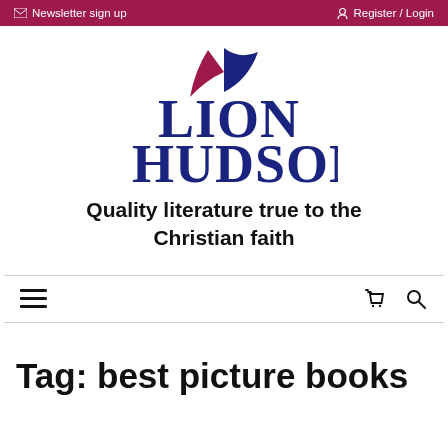Newsletter sign up   Register / Login
[Figure (logo): Lion Hudson logo with stylized bird/leaves in red and blue above the company name in dark blue serif text]
Quality literature true to the Christian faith
Tag: best picture books